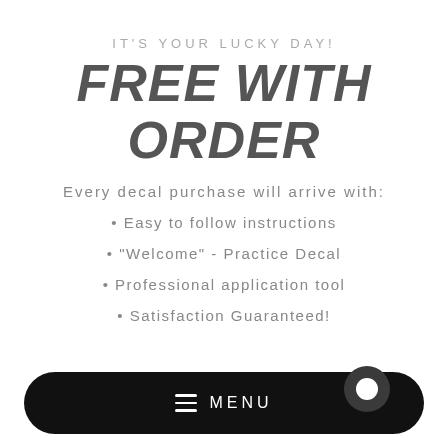IT'S YOUR LUCKY DAY!
FREE WITH ORDER
Every decal purchase will arrive with:
• Easy to follow instructions
• "Welcome" - Practice Decal
• Professional application tool
• Satisfaction Guaranteed!
[Figure (other): Black rounded rectangle navigation bar with hamburger menu icon and MENU text, and a circular chat button on the right]